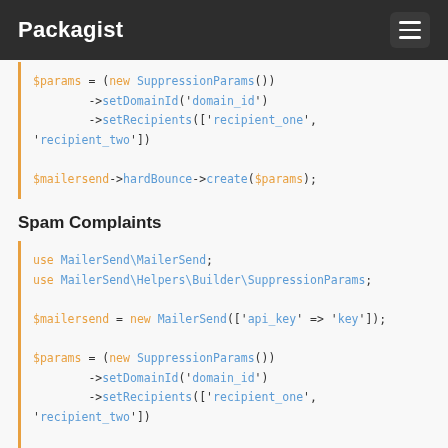Packagist
$params = (new SuppressionParams())
        ->setDomainId('domain_id')
        ->setRecipients(['recipient_one', 'recipient_two'])

$mailersend->hardBounce->create($params);
Spam Complaints
use MailerSend\MailerSend;
use MailerSend\Helpers\Builder\SuppressionParams;

$mailersend = new MailerSend(['api_key' => 'key']);

$params = (new SuppressionParams())
        ->setDomainId('domain_id')
        ->setRecipients(['recipient_one', 'recipient_two'])

$mailersend->spamComplaint->create($params);
Unsubscribes